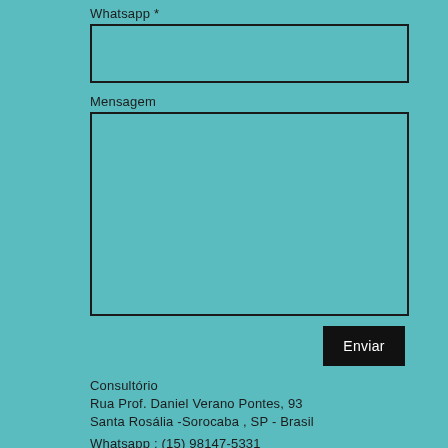Whatsapp *
[Figure (screenshot): Empty text input field for Whatsapp]
Mensagem
[Figure (screenshot): Empty textarea input field for Mensagem]
Enviar
Consultório
Rua Prof. Daniel Verano Pontes,  93
Santa Rosália -Sorocaba , SP - Brasil
Whatsapp : (15) 98147-5331